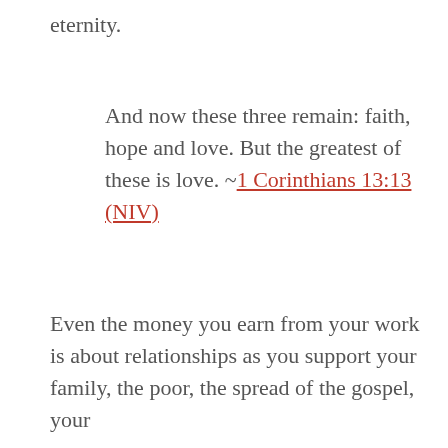eternity.
And now these three remain: faith, hope and love. But the greatest of these is love. ~1 Corinthians 13:13 (NIV)
Even the money you earn from your work is about relationships as you support your family, the poor, the spread of the gospel, your